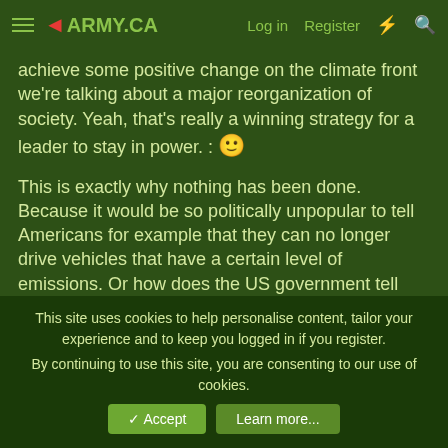ARMY.CA | Log in | Register
achieve some positive change on the climate front we're talking about a major reorganization of society. Yeah, that's really a winning strategy for a leader to stay in power. :🙂
This is exactly why nothing has been done. Because it would be so politically unpopular to tell Americans for example that they can no longer drive vehicles that have a certain level of emissions. Or how does the US government tell one of its biggest industries and employers "Hey turns out your entire business model will have to change if we're going to save the world." This is a tough conversation to have, in Canada as well, or for that matter many countries.
Think for a moment about what you're suggesting. You're suggesting that it's easier politically for governments to invest
This site uses cookies to help personalise content, tailor your experience and to keep you logged in if you register.
By continuing to use this site, you are consenting to our use of cookies.